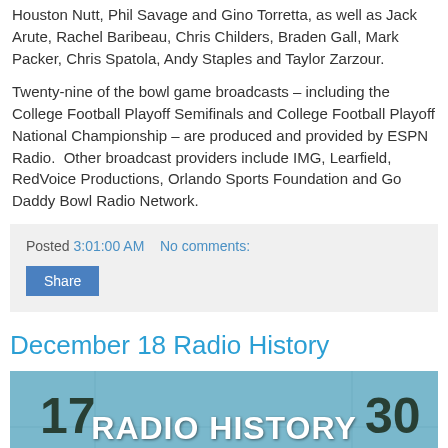Houston Nutt, Phil Savage and Gino Torretta, as well as Jack Arute, Rachel Baribeau, Chris Childers, Braden Gall, Mark Packer, Chris Spatola, Andy Staples and Taylor Zarzour.
Twenty-nine of the bowl game broadcasts – including the College Football Playoff Semifinals and College Football Playoff National Championship – are produced and provided by ESPN Radio.  Other broadcast providers include IMG, Learfield, RedVoice Productions, Orlando Sports Foundation and Go Daddy Bowl Radio Network.
Posted 3:01:00 AM    No comments:
Share
December 18 Radio History
[Figure (photo): A banner image showing a calendar background with the text 'RADIO HISTORY' in white bold letters, with numbers 17, 30, 25 visible on a blue-green calendar background.]